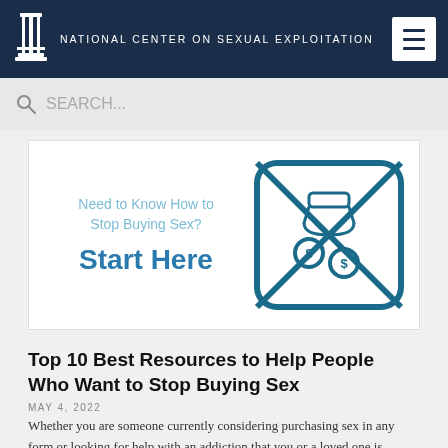NATIONAL CENTER ON SEXUAL EXPLOITATION
SEARCH...
[Figure (illustration): Banner image with two-column layout: left side has text 'Need to Know How to Stop Buying Sex? Start Here' in blue; right side shows an illustration of a hand exchanging money inside an envelope icon with an X through it, in dark teal/blue outline style.]
Top 10 Best Resources to Help People Who Want to Stop Buying Sex
MAY 4, 2022
Whether you are someone currently considering purchasing sex in any form or looking for help with an addiction that you or a loved one is struggling with, it is important to know that there is